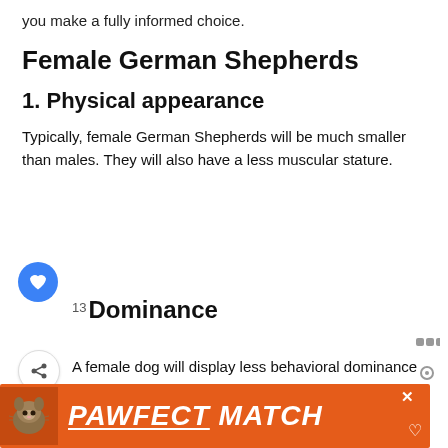you make a fully informed choice.
Female German Shepherds
1. Physical appearance
Typically, female German Shepherds will be much smaller than males. They will also have a less muscular stature.
13 Dominance
A female dog will display less behavioral dominance than a male dog will.
3. Family bonding
[Figure (screenshot): What's Next promo banner: 'How To Potty Train A...' with dog breed logo]
[Figure (infographic): PAWFECT MATCH advertisement banner with cat image in orange/red colors]